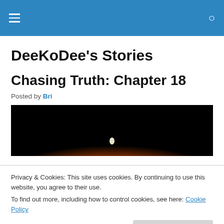DeeKoDee's Stories
DeeKoDee's Stories
Chasing Truth: Chapter 18
Posted by Bri
[Figure (illustration): An image showing a glowing yellow-orange sunrise or planet surface against a black background]
Privacy & Cookies: This site uses cookies. By continuing to use this website, you agree to their use.
To find out more, including how to control cookies, see here: Cookie Policy
Close and accept
Mari sighed as she shifted against the window at the main